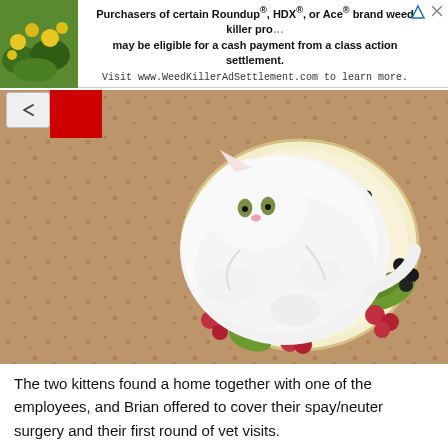[Figure (photo): Advertisement banner with photo of yellow flowers and green leaves on left, and text about Roundup/HDX/Ace brand weed killer class action settlement, with arrow/close icon top right.]
[Figure (photo): White cat curled up sitting inside a decorative ceramic bowl/plate with fruit and floral motifs, on a granite countertop, viewed from above.]
The two kittens found a home together with one of the employees, and Brian offered to cover their spay/neuter surgery and their first round of vet visits.